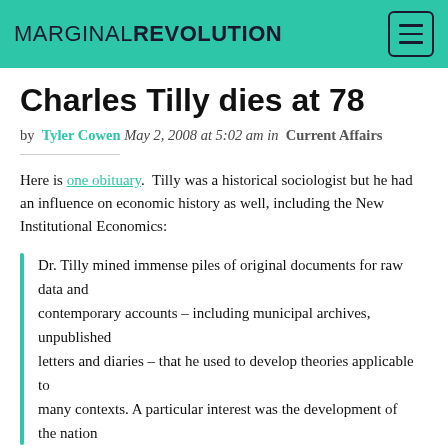MARGINAL REVOLUTION
Charles Tilly dies at 78
by Tyler Cowen May 2, 2008 at 5:02 am in Current Affairs
Here is one obituary. Tilly was a historical sociologist but he had an influence on economic history as well, including the New Institutional Economics:
Dr. Tilly mined immense piles of original documents for raw data and contemporary accounts – including municipal archives, unpublished letters and diaries – that he used to develop theories applicable to many contexts. A particular interest was the development of the nation